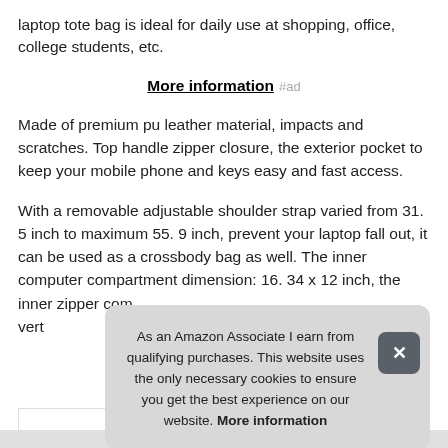laptop tote bag is ideal for daily use at shopping, office, college students, etc.
More information #ad
Made of premium pu leather material, impacts and scratches. Top handle zipper closure, the exterior pocket to keep your mobile phone and keys easy and fast access.
With a removable adjustable shoulder strap varied from 31. 5 inch to maximum 55. 9 inch, prevent your laptop fall out, it can be used as a crossbody bag as well. The inner computer compartment dimension: 16. 34 x 12 inch, the inner zipper com[...] vert[...]
As an Amazon Associate I earn from qualifying purchases. This website uses the only necessary cookies to ensure you get the best experience on our website. More information